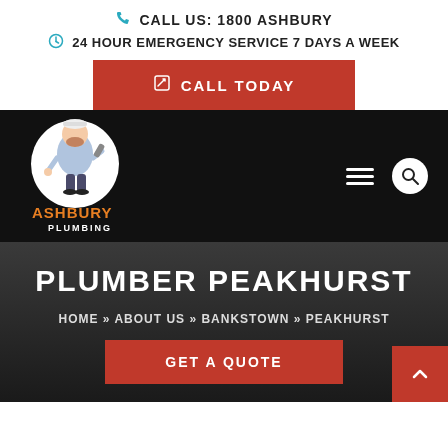CALL US: 1800 ASHBURY
24 HOUR EMERGENCY SERVICE 7 DAYS A WEEK
CALL TODAY
[Figure (logo): Ashbury Plumbing logo: cartoon plumber mascot with tool and wrench, orange text 'ASHBURY PLUMBING' below]
PLUMBER PEAKHURST
HOME » ABOUT US » BANKSTOWN » PEAKHURST
GET A QUOTE